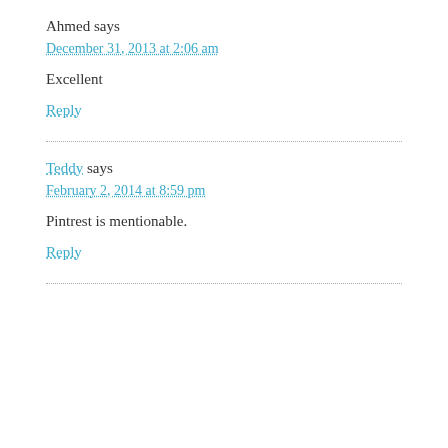Ahmed says
December 31, 2013 at 2:06 am
Excellent
Reply
Teddy says
February 2, 2014 at 8:59 pm
Pintrest is mentionable.
Reply